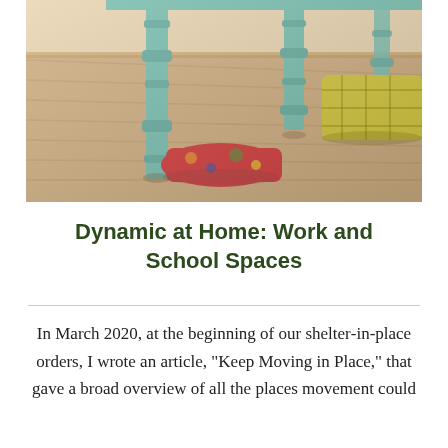[Figure (photo): A low-angle photo showing a teal/mint painted wooden table with turned legs, colorful floor cushions underneath, sitting on a textured woven jute rug. Warm natural lighting.]
Dynamic at Home: Work and School Spaces
In March 2020, at the beginning of our shelter-in-place orders, I wrote an article, “Keep Moving in Place,” that gave a broad overview of all the places movement could